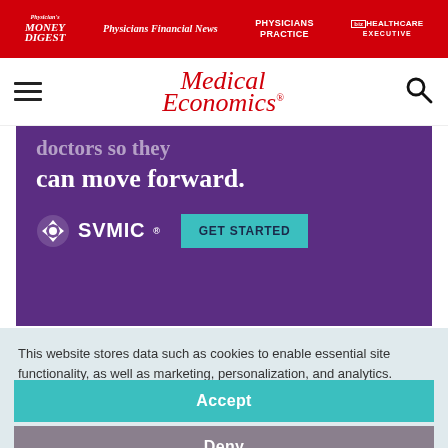Physician's Money Digest | Physicians Financial News | Physicians Practice | Healthcare Executive
[Figure (logo): Medical Economics logo with hamburger menu and search icon]
[Figure (illustration): SVMIC advertisement banner on purple background: 'doctors so they can move forward.' with SVMIC logo and GET STARTED button]
This website stores data such as cookies to enable essential site functionality, as well as marketing, personalization, and analytics. Cookie Policy
Accept
Deny